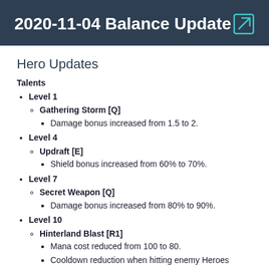2020-11-04 Balance Update
Hero Updates
Talents
Level 1
Gathering Storm [Q]
Damage bonus increased from 1.5 to 2.
Level 4
Updraft [E]
Shield bonus increased from 60% to 70%.
Level 7
Secret Weapon [Q]
Damage bonus increased from 80% to 90%.
Level 10
Hinterland Blast [R1]
Mana cost reduced from 100 to 80.
Cooldown reduction when hitting enemy Heroes